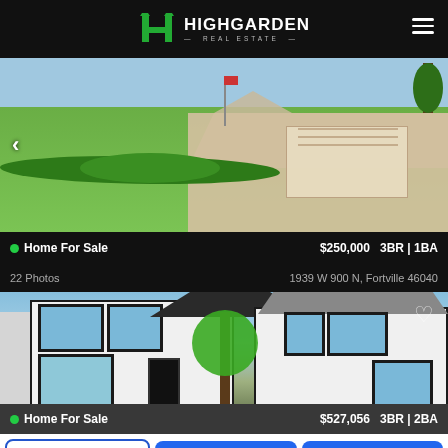[Figure (logo): Highgarden Real Estate logo with green H icon on dark background header]
[Figure (photo): Aerial view of a home for sale with green lawn, brick house, and large trees]
Home For Sale   $250,000   3BR | 1BA
22 Photos   1939 W 900 N, Fortville 46040
[Figure (photo): Modern black and white two-story home for sale with multiple windows, dark trim, and landscaping]
Home For Sale   $527,056   3BR | 2BA
Call Agent
Message Agent
Schedule Tour